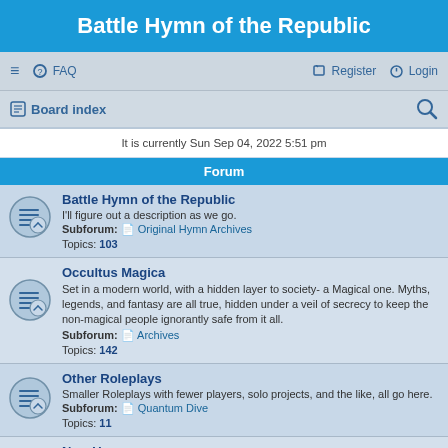Battle Hymn of the Republic
≡  FAQ    Register  Login
Board index
It is currently Sun Sep 04, 2022 5:51 pm
Forum
Battle Hymn of the Republic
I'll figure out a description as we go.
Subforum: Original Hymn Archives
Topics: 103
Occultus Magica
Set in a modern world, with a hidden layer to society- a Magical one. Myths, legends, and fantasy are all true, hidden under a veil of secrecy to keep the non-magical people ignorantly safe from it all.
Subforum: Archives
Topics: 142
Other Roleplays
Smaller Roleplays with fewer players, solo projects, and the like, all go here.
Subforum: Quantum Dive
Topics: 11
New Users
New users must post here before they can become part of the site. Please, introduce yourself, tell us why you're here, and what brought you in.

Post ANY spam and your account will be banned and deleted, thank you.